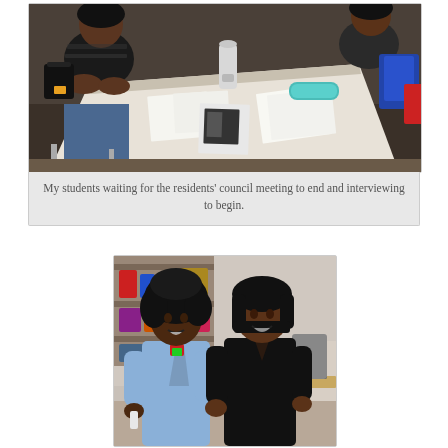[Figure (photo): Students seated around a white table in a meeting room, waiting for residents' council meeting. Papers, a teal object, and water bottle visible on the table.]
My students waiting for the residents' council meeting to end and interviewing to begin.
[Figure (photo): Two women standing together smiling in an office/room with shelves in the background. One wearing a light blue jacket with natural hair, the other wearing a black top with straight hair.]